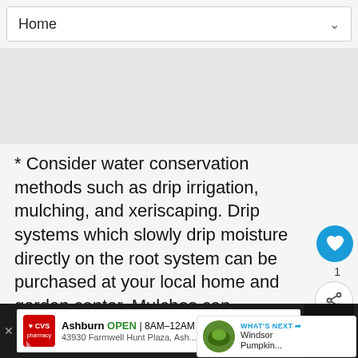Home
* Consider water conservation methods such as drip irrigation, mulching, and xeriscaping. Drip systems which slowly drip moisture directly on the root system can be purchased at your local home and garden center. Mulches can significantly cool the root zone and conserve moisture.
* Consider adding water-saving gels to the root zone which will hold a reserve of water for the plants...
[Figure (screenshot): What's Next panel showing Windsor Pumpkin... article with thumbnail image]
[Figure (screenshot): CVS Pharmacy ad banner: Ashburn OPEN 8AM-12AM, 43930 Farmwell Hunt Plaza, Ash...]